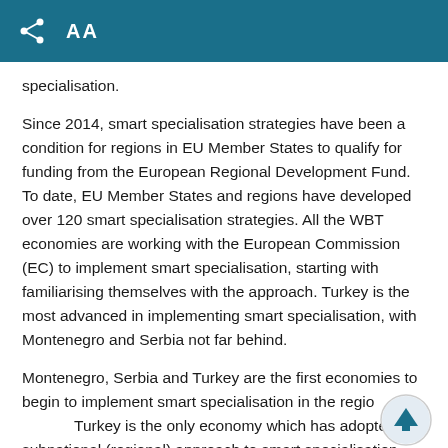AA
specialisation.
Since 2014, smart specialisation strategies have been a condition for regions in EU Member States to qualify for funding from the European Regional Development Fund. To date, EU Member States and regions have developed over 120 smart specialisation strategies. All the WBT economies are working with the European Commission (EC) to implement smart specialisation, starting with familiarising themselves with the approach. Turkey is the most advanced in implementing smart specialisation, with Montenegro and Serbia not far behind.
Montenegro, Serbia and Turkey are the first economies to begin to implement smart specialisation in the region. Turkey is the only economy which has adopted a subnational (regional) approach to smart specialisation, with all the others taking a national approach. In Turkey